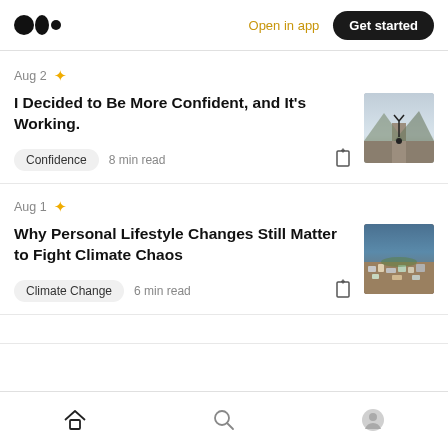Medium logo | Open in app | Get started
Aug 2 ★
I Decided to Be More Confident, and It's Working.
Confidence  8 min read
[Figure (photo): Person doing a handstand on a path outdoors with mountains in background]
Aug 1 ★
Why Personal Lifestyle Changes Still Matter to Fight Climate Chaos
Climate Change  6 min read
[Figure (photo): Aerial view of waste/trash landscape with some greenery]
Home | Search | Profile